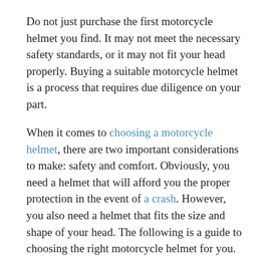Do not just purchase the first motorcycle helmet you find. It may not meet the necessary safety standards, or it may not fit your head properly. Buying a suitable motorcycle helmet is a process that requires due diligence on your part.
When it comes to choosing a motorcycle helmet, there are two important considerations to make: safety and comfort. Obviously, you need a helmet that will afford you the proper protection in the event of a crash. However, you also need a helmet that fits the size and shape of your head. The following is a guide to choosing the right motorcycle helmet for you.
Safety
A helmet that meets the applicable Federal Motor Vehicle Safety Standard will have a label on the back bearing the symbol of the Department of Transportation. You should not purchase or use any